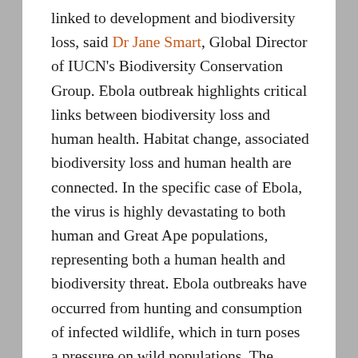linked to development and biodiversity loss, said Dr Jane Smart, Global Director of IUCN's Biodiversity Conservation Group. Ebola outbreak highlights critical links between biodiversity loss and human health. Habitat change, associated biodiversity loss and human health are connected. In the specific case of Ebola, the virus is highly devastating to both human and Great Ape populations, representing both a human health and biodiversity threat. Ebola outbreaks have occurred from hunting and consumption of infected wildlife, which in turn poses a pressure on wild populations. The cause of the initial 'spill over event' is not clearly known for this outbreak but landscape change in the affected area is significant in recent years.